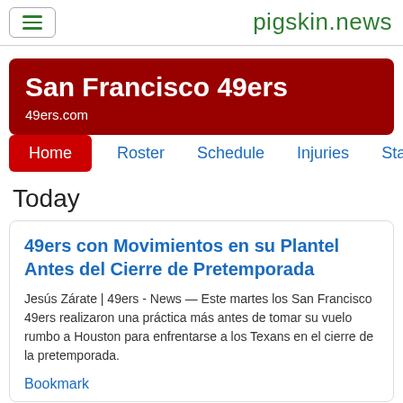pigskin.news
San Francisco 49ers
49ers.com
Home  Roster  Schedule  Injuries  Stats
Today
49ers con Movimientos en su Plantel Antes del Cierre de Pretemporada
Jesús Zárate | 49ers - News — Este martes los San Francisco 49ers realizaron una práctica más antes de tomar su vuelo rumbo a Houston para enfrentarse a los Texans en el cierre de la pretemporada.
Bookmark